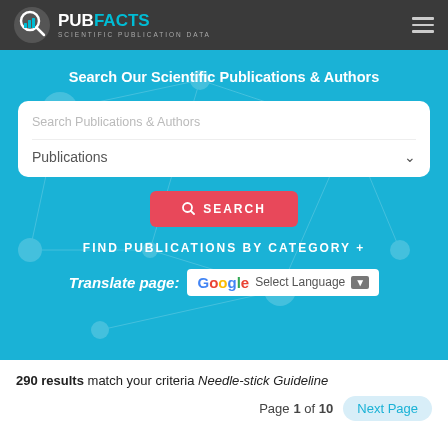[Figure (logo): PubFacts logo with bar chart icon and text 'PUBFACTS SCIENTIFIC PUBLICATION DATA']
Search Our Scientific Publications & Authors
Search Publications & Authors
Publications
SEARCH
FIND PUBLICATIONS BY CATEGORY +
Translate page: G Select Language ▼
290 results match your criteria Needle-stick Guideline
Page 1 of 10   Next Page